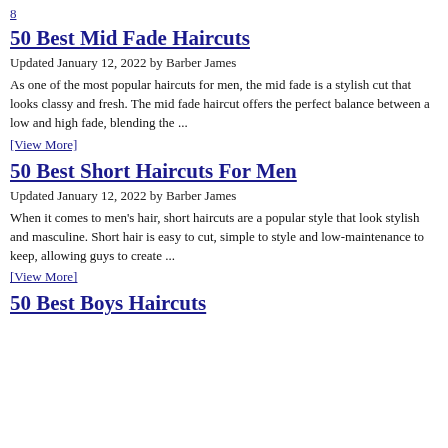8
50 Best Mid Fade Haircuts
Updated January 12, 2022 by Barber James
As one of the most popular haircuts for men, the mid fade is a stylish cut that looks classy and fresh. The mid fade haircut offers the perfect balance between a low and high fade, blending the ...
[View More]
50 Best Short Haircuts For Men
Updated January 12, 2022 by Barber James
When it comes to men's hair, short haircuts are a popular style that look stylish and masculine. Short hair is easy to cut, simple to style and low-maintenance to keep, allowing guys to create ...
[View More]
50 Best Boys Haircuts